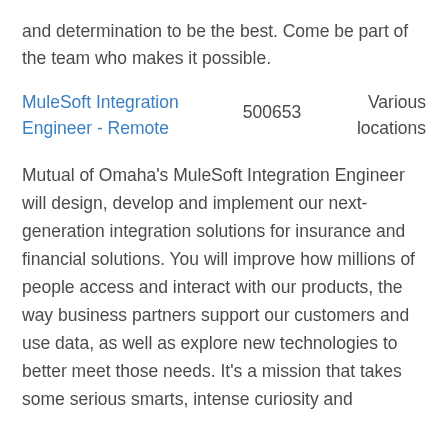and determination to be the best. Come be part of the team who makes it possible.
MuleSoft Integration Engineer - Remote   500653   Various locations
Mutual of Omaha's MuleSoft Integration Engineer will design, develop and implement our next-generation integration solutions for insurance and financial solutions. You will improve how millions of people access and interact with our products, the way business partners support our customers and use data, as well as explore new technologies to better meet those needs. It's a mission that takes some serious smarts, intense curiosity and